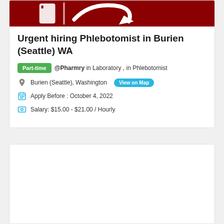[Figure (logo): Dark red/maroon logo with white icons (phlebotomy/medical related) on a dark red background strip]
Urgent hiring Phlebotomist in Burien (Seattle) WA
Part-time  @Pharmry in Laboratory , in Phlebotomist
Burien (Seattle), Washington  View on Map
Apply Before : October 4, 2022
Salary: $15.00 - $21.00 / Hourly